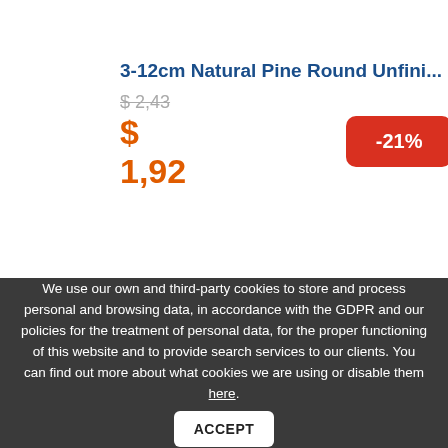3-12cm Natural Pine Round Unfini...
$ 2,43
$ 1,92
-21%
We use our own and third-party cookies to store and process personal and browsing data, in accordance with the GDPR and our policies for the treatment of personal data, for the proper functioning of this website and to provide search services to our clients. You can find out more about what cookies we are using or disable them here. ACCEPT